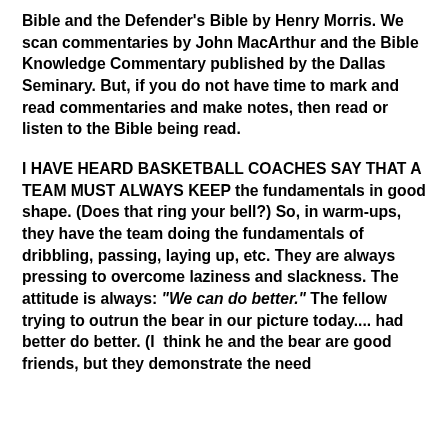Bible and the Defender's Bible by Henry Morris. We scan commentaries by John MacArthur and the Bible Knowledge Commentary published by the Dallas Seminary. But, if you do not have time to mark and read commentaries and make notes, then read or listen to the Bible being read.
I HAVE HEARD BASKETBALL COACHES SAY THAT A TEAM MUST ALWAYS KEEP the fundamentals in good shape. (Does that ring your bell?) So, in warm-ups, they have the team doing the fundamentals of dribbling, passing, laying up, etc. They are always pressing to overcome laziness and slackness. The attitude is always: "We can do better." The fellow trying to outrun the bear in our picture today.... had better do better. (I think he and the bear are good friends, but they demonstrate the need